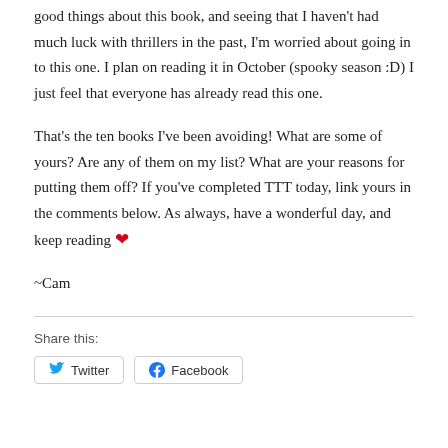good things about this book, and seeing that I haven't had much luck with thrillers in the past, I'm worried about going in to this one. I plan on reading it in October (spooky season :D) I just feel that everyone has already read this one.
That's the ten books I've been avoiding! What are some of yours? Are any of them on my list? What are your reasons for putting them off? If you've completed TTT today, link yours in the comments below. As always, have a wonderful day, and keep reading ❤
~Cam
Share this:
Twitter  Facebook